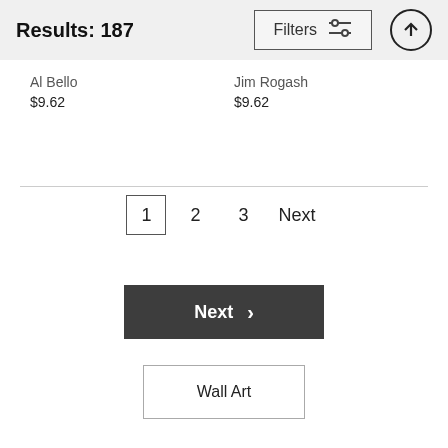Results: 187
Filters
Al Bello
$9.62
Jim Rogash
$9.62
1  2  3  Next
Next >
Wall Art